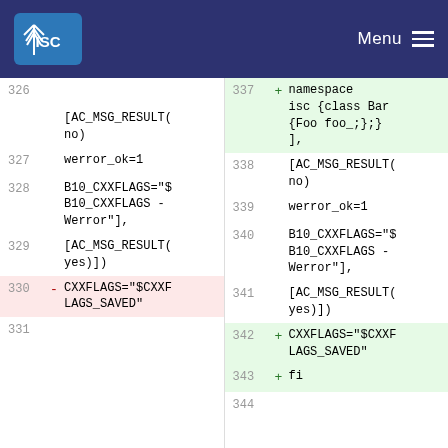ISC Menu
| Left Line | Left Sign | Left Code | Right Line | Right Sign | Right Code |
| --- | --- | --- | --- | --- | --- |
|  |  |  | 337 | + | namespace isc {class Bar {Foo foo_;};}, |
| 326 |  |  | 338 |  |  |
|  |  | [AC_MSG_RESULT(no) |  |  | [AC_MSG_RESULT(no) |
| 327 |  |  | 339 |  |  |
|  |  | werror_ok=1 |  |  | werror_ok=1 |
| 328 |  |  | 340 |  |  |
|  |  | B10_CXXFLAGS="$B10_CXXFLAGS -Werror"], |  |  | B10_CXXFLAGS="$B10_CXXFLAGS -Werror"], |
| 329 |  |  | 341 |  |  |
|  |  | [AC_MSG_RESULT(yes)]) |  |  | [AC_MSG_RESULT(yes)]) |
| 330 | - | CXXFLAGS="$CXXFLAGS_SAVED" | 342 | + | CXXFLAGS="$CXXFLAGS_SAVED" |
|  |  |  | 343 | + | fi |